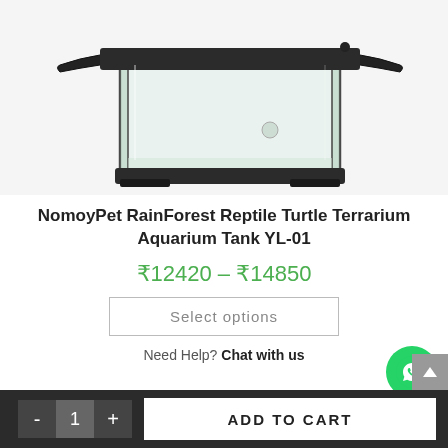[Figure (photo): Glass terrarium aquarium tank with black frame and lid, viewed from above at an angle, showing the front opening panels]
NomoyPet RainForest Reptile Turtle Terrarium Aquarium Tank YL-01
₹12420 – ₹14850
Select options
Need Help? Chat with us